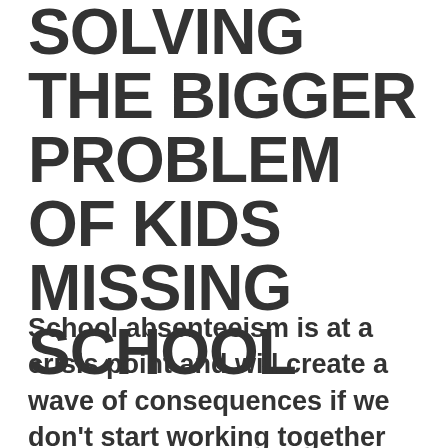SOLVING THE BIGGER PROBLEM OF KIDS MISSING SCHOOL
School absenteeism is at a crisis point and will create a wave of consequences if we don't start working together on